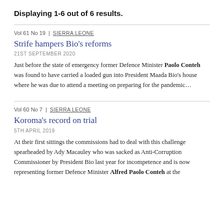Displaying 1-6 out of 6 results.
Vol 61 No 19 | SIERRA LEONE
Strife hampers Bio's reforms
21ST SEPTEMBER 2020
Just before the state of emergency former Defence Minister Paolo Conteh was found to have carried a loaded gun into President Maada Bio's house where he was due to attend a meeting on preparing for the pandemic…
Vol 60 No 7 | SIERRA LEONE
Koroma's record on trial
5TH APRIL 2019
At their first sittings the commissions had to deal with this challenge spearheaded by Ady Macauley who was sacked as Anti-Corruption Commissioner by President Bio last year for incompetence and is now representing former Defence Minister Alfred Paolo Conteh at the